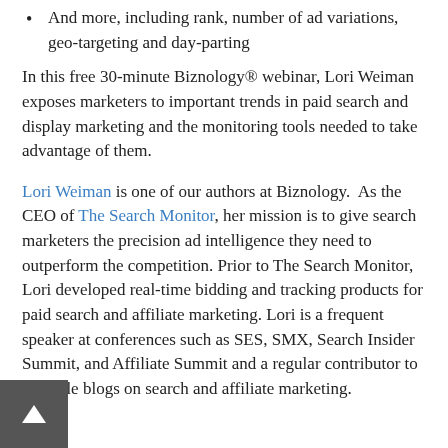And more, including rank, number of ad variations, geo-targeting and day-parting
In this free 30-minute Biznology® webinar, Lori Weiman exposes marketers to important trends in paid search and display marketing and the monitoring tools needed to take advantage of them.
Lori Weiman is one of our authors at Biznology. As the CEO of The Search Monitor, her mission is to give search marketers the precision ad intelligence they need to outperform the competition. Prior to The Search Monitor, Lori developed real-time bidding and tracking products for paid search and affiliate marketing. Lori is a frequent speaker at conferences such as SES, SMX, Search Insider Summit, and Affiliate Summit and a regular contributor to multiple blogs on search and affiliate marketing.